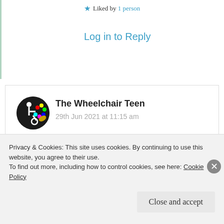★ Liked by 1 person
Log in to Reply
The Wheelchair Teen
29th Jun 2021 at 11:15 am
I absolutely loved this poem – too often tears are seen as a weakness or a flaw of human emotion. That's why I loved the line 'tears are valuable' – because they really are. I also liked the image of
Privacy & Cookies: This site uses cookies. By continuing to use this website, you agree to their use.
To find out more, including how to control cookies, see here: Cookie Policy
Close and accept